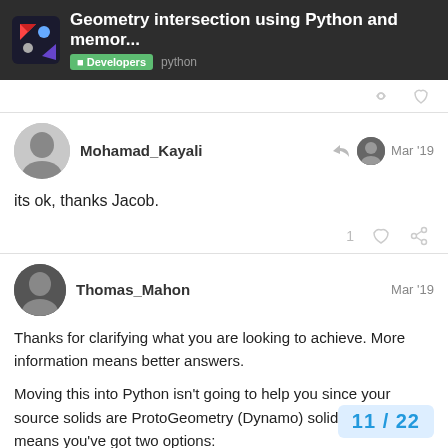Geometry intersection using Python and memor... | Developers python
Mohamad_Kayali   Mar '19
its ok, thanks Jacob.
Thomas_Mahon   Mar '19
Thanks for clarifying what you are looking to achieve. More information means better answers.

Moving this into Python isn't going to help you since your source solids are ProtoGeometry (Dynamo) solids which means you've got two options:
1. You can use Dynamo's geometry libr...
11 / 22